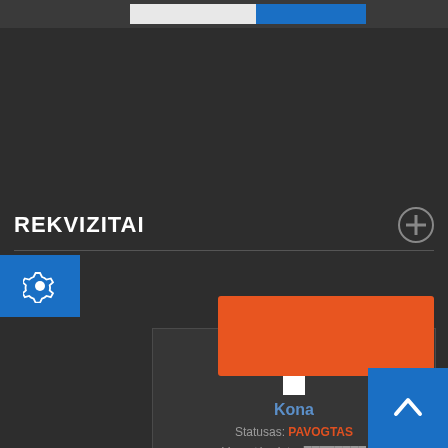REKVIZITAI
[Figure (screenshot): Blue gear/settings icon button on left side]
[Figure (screenshot): Card panel showing vehicle name Kona, status PAVOGTAS (stolen), theft date, and an orange action button below]
Kona
Statusas: PAVOGTAS
Vagystės data:
[Figure (screenshot): Orange action button]
[Figure (screenshot): Blue up/back-to-top arrow button in bottom right corner]